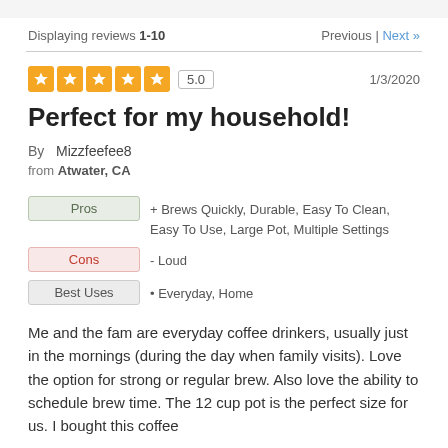Displaying reviews 1-10   Previous | Next »
5.0   1/3/2020
Perfect for my household!
By  Mizzfeefee8
from Atwater, CA
Pros: + Brews Quickly, Durable, Easy To Clean, Easy To Use, Large Pot, Multiple Settings
Cons: - Loud
Best Uses: • Everyday, Home
Me and the fam are everyday coffee drinkers, usually just in the mornings (during the day when family visits). Love the option for strong or regular brew. Also love the ability to schedule brew time. The 12 cup pot is the perfect size for us. I bought this coffee